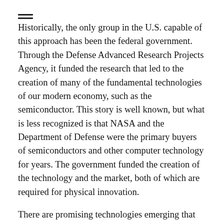Historically, the only group in the U.S. capable of this approach has been the federal government. Through the Defense Advanced Research Projects Agency, it funded the research that led to the creation of many of the fundamental technologies of our modern economy, such as the semiconductor. This story is well known, but what is less recognized is that NASA and the Department of Defense were the primary buyers of semiconductors and other computer technology for years. The government funded the creation of the technology and the market, both of which are required for physical innovation.
There are promising technologies emerging that could fundamentally alter how we build. Examples range from quantum sensors which could eliminate the risk posed by unknown underground conditions, to 3D printers that can print everything from the